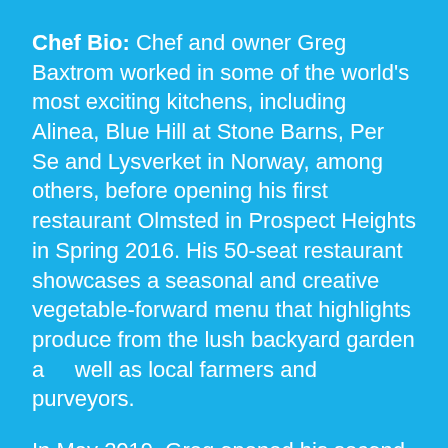Chef Bio: Chef and owner Greg Baxtrom worked in some of the world's most exciting kitchens, including Alinea, Blue Hill at Stone Barns, Per Se and Lysverket in Norway, among others, before opening his first restaurant Olmsted in Prospect Heights in Spring 2016. His 50-seat restaurant showcases a seasonal and creative vegetable-forward menu that highlights produce from the lush backyard garden as well as local farmers and purveyors.
In May 2019, Greg opened his second restaurant Maison Yaki in Prospect Heights. Greg combines his two favorite cuisines in this French yakitori restaurant and patio which is rooted in his appreciation for classical French and love for the style of yakitori. Maison Yaki has been featured in outlets like The New York Times, Food &
[Figure (other): Shopping cart icon button with a pink badge showing the number 0, positioned in the lower right area of the page]